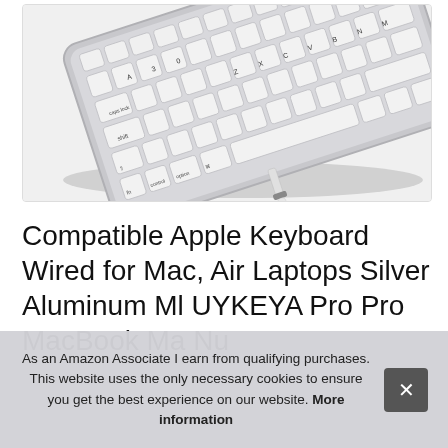[Figure (photo): Photo of a silver aluminum wired Mac keyboard at an angle, with a USB cable visible at the bottom right. Keys visible include caps lock, shift, control, command, alt, and standard letter/number keys. Background is light gray/white.]
Compatible Apple Keyboard Wired for Mac, Air Laptops Silver Aluminum MLUYKFYA Pro Pro MacBook Mac ... Nu...
As an Amazon Associate I earn from qualifying purchases. This website uses the only necessary cookies to ensure you get the best experience on our website. More information